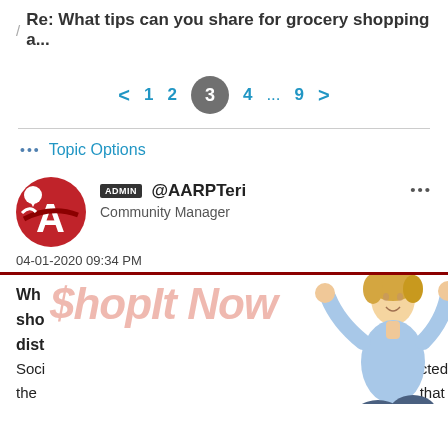/ Re: What tips can you share for grocery shopping a...
< 1 2 3 4 ... 9 >
••• Topic Options
ADMIN @AARPTeri Community Manager
04-01-2020 09:34 PM
[Figure (photo): Advertisement overlay showing '$hopIt Now' text in pink/red and a woman sitting cross-legged with fists raised celebrating, with a laptop]
Wh sho dist Soci the
cted that